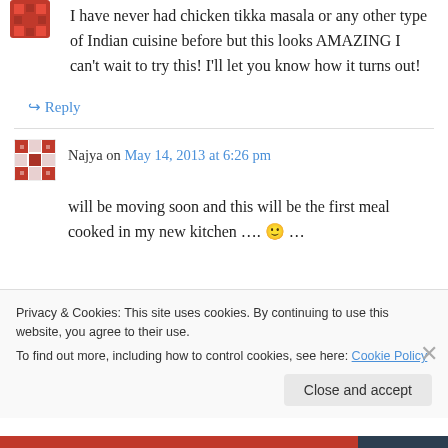[Figure (illustration): Small avatar icon (red/maroon geometric pattern) at top left]
I have never had chicken tikka masala or any other type of Indian cuisine before but this looks AMAZING I can't wait to try this! I'll let you know how it turns out!
↪ Reply
[Figure (illustration): Avatar icon for Najya (red geometric mosaic pattern)]
Najya on May 14, 2013 at 6:26 pm
will be moving soon and this will be the first meal cooked in my new kitchen …. 🙂 …
Privacy & Cookies: This site uses cookies. By continuing to use this website, you agree to their use.
To find out more, including how to control cookies, see here: Cookie Policy